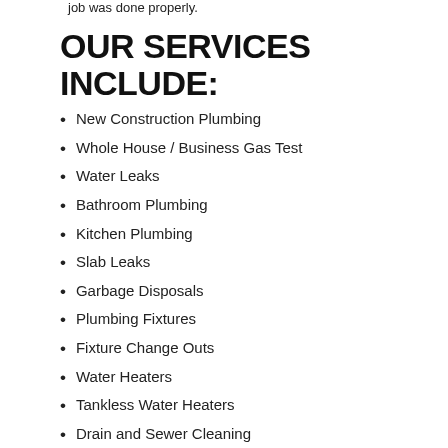job was done properly.
OUR SERVICES INCLUDE:
New Construction Plumbing
Whole House / Business Gas Test
Water Leaks
Bathroom Plumbing
Kitchen Plumbing
Slab Leaks
Garbage Disposals
Plumbing Fixtures
Fixture Change Outs
Water Heaters
Tankless Water Heaters
Drain and Sewer Cleaning
Clogged Drains
Sewer Line Repair and Replacement
Gas & Water Line Repair and Installation
Backflow Prevention
Sewer Color Video Line Inspection